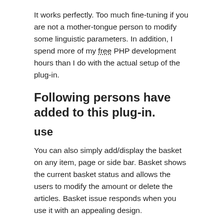It works perfectly. Too much fine-tuning if you are not a mother-tongue person to modify some linguistic parameters. In addition, I spend more of my free PHP development hours than I do with the actual setup of the plug-in.
Following persons have added to this plug-in.
use
You can also simply add/display the basket on any item, page or side bar. Basket shows the current basket status and allows the users to modify the amount or delete the articles. Basket issue responds when you use it with an appealing design.
It is also easy to resell your product with this plug-in. Below you can see a short movie showing how to get your multimedia data sold with the simple Kart plugin: It is a light plug-in (with a minimum number of line of codes and minimum options) so that it does not delay your website.
You can also use the intelligent PayPal paying keys. Now you